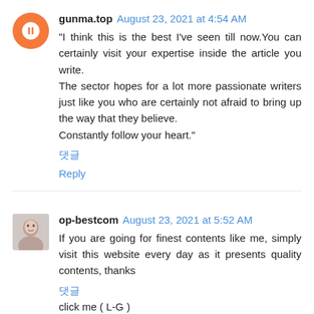gunma.top August 23, 2021 at 4:54 AM
"I think this is the best I've seen till now.You can certainly visit your expertise inside the article you write.
The sector hopes for a lot more passionate writers just like you who are certainly not afraid to bring up the way that they believe.
Constantly follow your heart."
댓글
Reply
op-bestcom August 23, 2021 at 5:52 AM
If you are going for finest contents like me, simply visit this website every day as it presents quality contents, thanks
댓글
click me ( L-G )
Reply